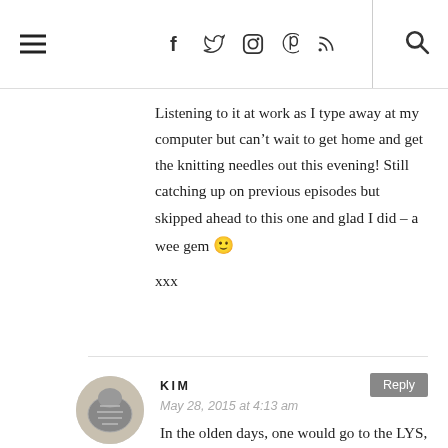Navigation header with hamburger menu, social icons (f, twitter, instagram, pinterest, rss), and search icon
Listening to it at work as I type away at my computer but can’t wait to get home and get the knitting needles out this evening! Still catching up on previous episodes but skipped ahead to this one and glad I did – a wee gem 🙂
xxx
KIM
May 28, 2015 at 4:13 am
In the olden days, one would go to the LYS, buy a pattern, the yarn, other necessities, go home, and knit. Maybe you belonged to a knitting group but it was a very individual pursuit and who knew where the yarn came from or the